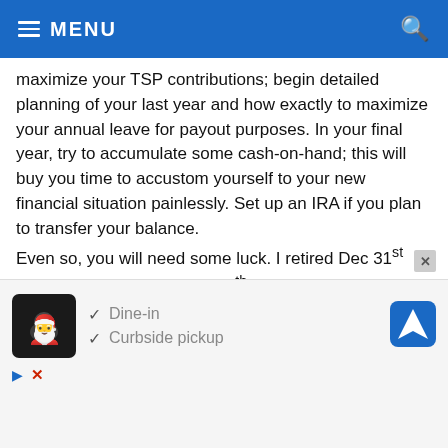MENU
maximize your TSP contributions; begin detailed planning of your last year and how exactly to maximize your annual leave for payout purposes. In your final year, try to accumulate some cash-on-hand; this will buy you time to accustom yourself to your new financial situation painlessly. Set up an IRA if you plan to transfer your balance.
Even so, you will need some luck. I retired Dec 31st 2010 but I got lucky on Mar 9th 2009 when the market came back to life.
2 ∧ | ∨
gmanqa → jimijr
8 years ago
5 years out is way too early to cut back on stock market
[Figure (screenshot): Advertisement overlay showing a restaurant listing with Dine-in and Curbside pickup options, with a chef logo and navigation icon.]